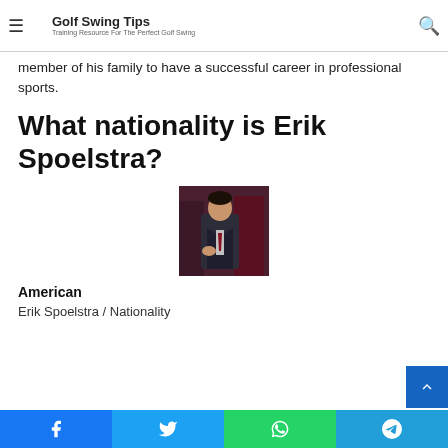Golf Swing Tips — Training Resource For The Perfect Golf Swing
member of his family to have a successful career in professional sports.
What nationality is Erik Spoelstra?
[Figure (photo): Photo of Erik Spoelstra, a man in a suit gesturing, with players in dark jerseys behind him]
American
Erik Spoelstra / Nationality
Share buttons: Facebook, Twitter, WhatsApp, Telegram